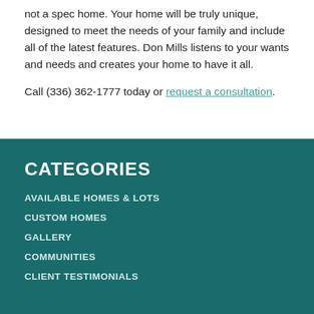not a spec home. Your home will be truly unique, designed to meet the needs of your family and include all of the latest features. Don Mills listens to your wants and needs and creates your home to have it all.
Call (336) 362-1777 today or request a consultation.
CATEGORIES
AVAILABLE HOMES & LOTS
CUSTOM HOMES
GALLERY
COMMUNITIES
CLIENT TESTIMONIALS